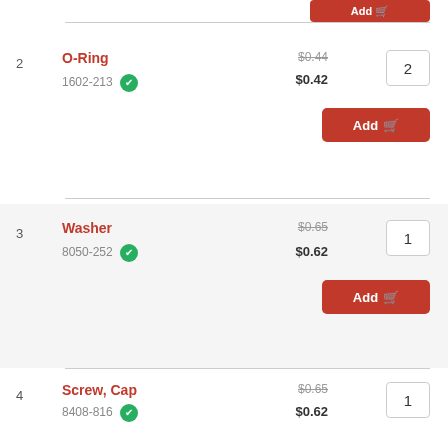2 O-Ring 1602-213 [in-stock] original price: $0.44, price: $0.42, quantity: 2, Add to cart
3 Washer 8050-252 [in-stock] original price: $0.65, price: $0.62, quantity: 1, Add to cart
4 Screw, Cap 8408-816 [in-stock] original price: $0.65, price: $0.62, quantity: 1, Add to cart
5 Spring, Brake Lever 0502-807 [backordered] original price: $15.82, price: $14.95, quantity: 1, Add to cart
CHAT NOW